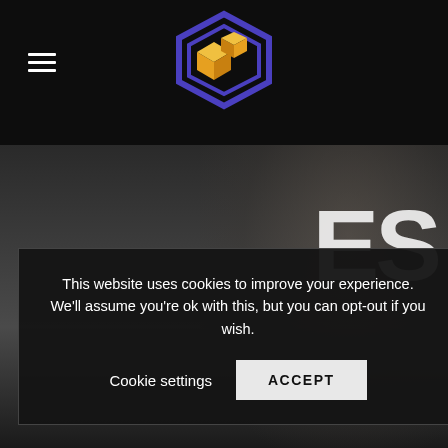[Figure (logo): Graphite Additive Manufacturing logo — geometric hexagonal shape in purple/dark blue outline with gold/yellow 3D cube forms inside, above the text 'GRAPHITE' in large white letters and 'ADDITIVE MANUFACTURING' in smaller spaced white letters]
[Figure (photo): Dark background with silhouette/photo of a person in a white lab coat, dimly lit industrial or manufacturing environment]
ES
This website uses cookies to improve your experience. We'll assume you're ok with this, but you can opt-out if you wish.
Cookie settings
ACCEPT